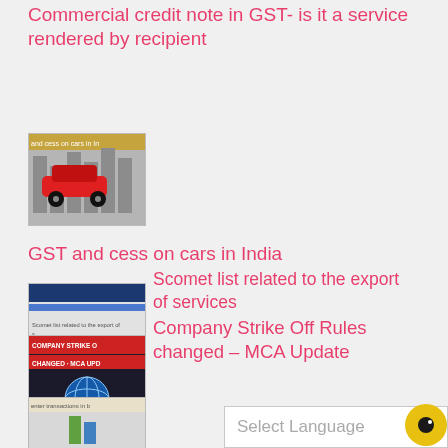Commercial credit note in GST- is it a service rendered by recipient
[Figure (photo): Thumbnail image of cars with GST and cess text]
GST and cess on cars in India
[Figure (photo): Thumbnail image related to Scomet list export of services]
Scomet list related to the export of services
[Figure (photo): Thumbnail image of globe/world with company strike off text]
Company Strike Off Rules changed – MCA Update
[Figure (screenshot): Partial thumbnail at bottom left]
Select Language